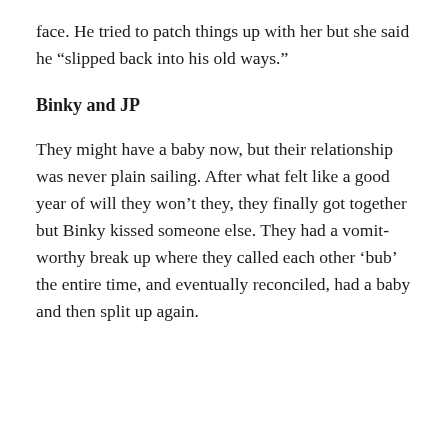face. He tried to patch things up with her but she said he “slipped back into his old ways.”
Binky and JP
They might have a baby now, but their relationship was never plain sailing. After what felt like a good year of will they won’t they, they finally got together but Binky kissed someone else. They had a vomit-worthy break up where they called each other ‘bub’ the entire time, and eventually reconciled, had a baby and then split up again.